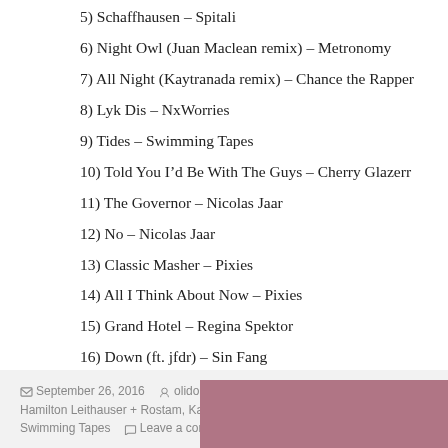5) Schaffhausen – Spitali
6) Night Owl (Juan Maclean remix) – Metronomy
7) All Night (Kaytranada remix) – Chance the Rapper
8) Lyk Dis – NxWorries
9) Tides – Swimming Tapes
10) Told You I'd Be With The Guys – Cherry Glazerr
11) The Governor – Nicolas Jaar
12) No – Nicolas Jaar
13) Classic Masher – Pixies
14) All I Think About Now – Pixies
15) Grand Hotel – Regina Spektor
16) Down (ft. jfdr) – Sin Fang
September 26, 2016  olidori  Fréttir, Útvarp  Dirty Projectors, Hamilton Leithauser + Rostam, Kaytranada, Nicolas Jaar, NxWorries, Swimming Tapes  Leave a comment